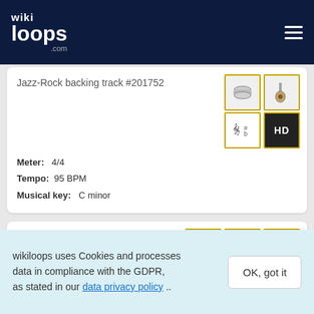wikiloops.com
Jazz-Rock backing track #201752
Meter: 4/4
Tempo: 95 BPM
Musical key: C minor
Côa
Jazz-Rock backing track #180305
Meter: 4/4
wikiloops uses Cookies and processes data in compliance with the GDPR, as stated in our data privacy policy ..